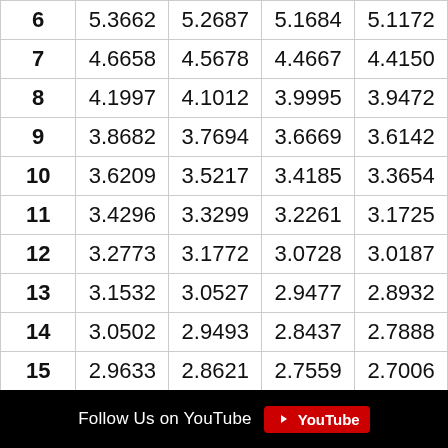|  | col1 | col2 | col3 | col4 |
| --- | --- | --- | --- | --- |
| 6 | 5.3662 | 5.2687 | 5.1684 | 5.1172 |
| 7 | 4.6658 | 4.5678 | 4.4667 | 4.4150 |
| 8 | 4.1997 | 4.1012 | 3.9995 | 3.9472 |
| 9 | 3.8682 | 3.7694 | 3.6669 | 3.6142 |
| 10 | 3.6209 | 3.5217 | 3.4185 | 3.3654 |
| 11 | 3.4296 | 3.3299 | 3.2261 | 3.1725 |
| 12 | 3.2773 | 3.1772 | 3.0728 | 3.0187 |
| 13 | 3.1532 | 3.0527 | 2.9477 | 2.8932 |
| 14 | 3.0502 | 2.9493 | 2.8437 | 2.7888 |
| 15 | 2.9633 | 2.8621 | 2.7559 | 2.7006 |
Follow Us on YouTube